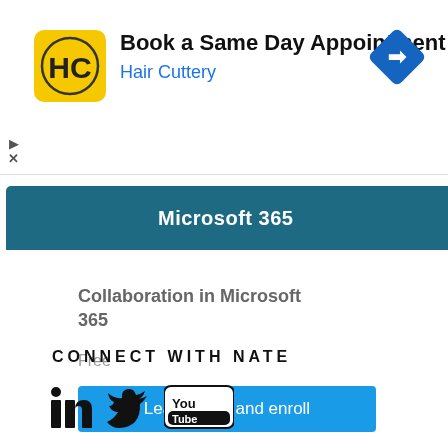[Figure (screenshot): Hair Cuttery advertisement banner with yellow HC logo, title 'Book a Same Day Appointment', subtitle 'Hair Cuttery' in blue, and blue diamond navigation arrow icon on the right]
[Figure (screenshot): Microsoft 365 dark teal navigation bar with 'Microsoft 365' text in white]
Collaboration in Microsoft 365
Free
Learn more and enroll
CONNECT WITH NATE
[Figure (illustration): Social media icons: LinkedIn, Twitter, YouTube]